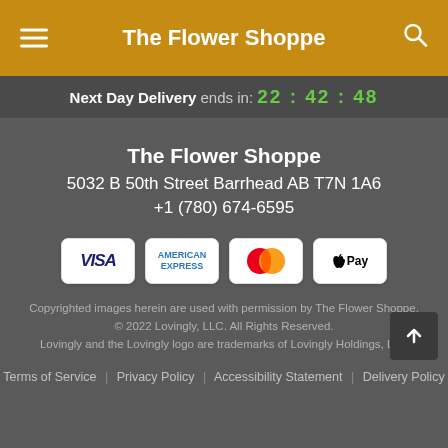The Flower Shoppe
Next Day Delivery ends in: 22 : 42 : 48
The Flower Shoppe
5032 B 50th Street Barrhead AB T7N 1A6
+1 (780) 674-6595
[Figure (other): Payment method badges: VISA, American Express, Mastercard, Apple Pay]
Copyrighted images herein are used with permission by The Flower Shoppe.
© 2022 Lovingly, LLC. All Rights Reserved.
Lovingly and the Lovingly logo are trademarks of Lovingly Holdings, LLC
Terms of Service | Privacy Policy | Accessibility Statement | Delivery Policy